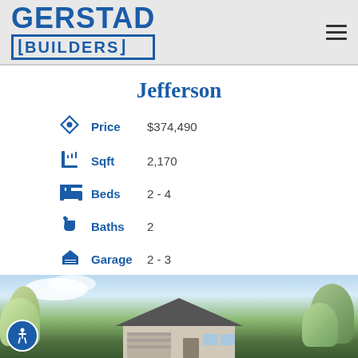[Figure (logo): Gerstad Builders logo in blue with bordered text]
Jefferson
Price  $374,490
Sqft  2,170
Beds  2 - 4
Baths  2
Garage  2 - 3
[Figure (photo): Exterior rendering of the Jefferson home model with trees and landscaping]